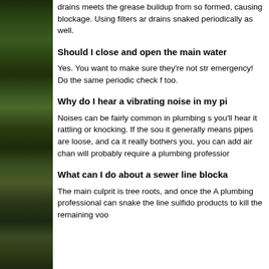[Figure (photo): Vertical sidebar image showing trees/foliage with dark green and brown tones]
drains meets the grease buildup from so formed, causing blockage. Using filters ar drains snaked periodically as well.
Should I close and open the main water
Yes. You want to make sure they're not str emergency! Do the same periodic check f too.
Why do I hear a vibrating noise in my pi
Noises can be fairly common in plumbing s you'll hear it rattling or knocking. If the sou it generally means pipes are loose, and ca it really bothers you, you can add air chan will probably require a plumbing professior
What can I do about a sewer line blocka
The main culprit is tree roots, and once the A plumbing professional can snake the line sulfido products to kill the remaining voo